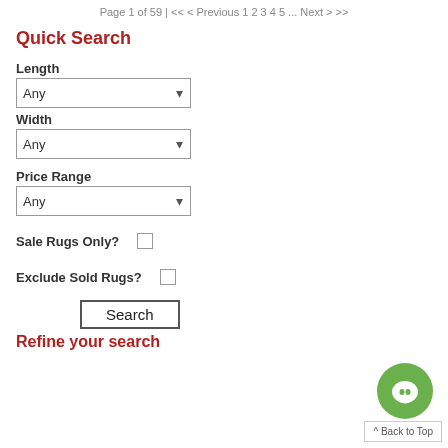Page 1 of 59 | << < Previous 1 2 3 4 5 ... Next > >>
Quick Search
Length
Any (dropdown)
Width
Any (dropdown)
Price Range
Any (dropdown)
Sale Rugs Only?
Exclude Sold Rugs?
Search (button)
Refine your search